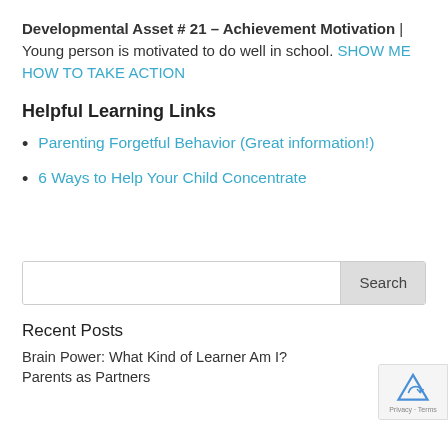Developmental Asset # 21 – Achievement Motivation | Young person is motivated to do well in school. SHOW ME HOW TO TAKE ACTION
Helpful Learning Links
Parenting Forgetful Behavior (Great information!)
6 Ways to Help Your Child Concentrate
[Figure (screenshot): Search input box with Search button on the right]
Recent Posts
Brain Power: What Kind of Learner Am I?
Parents as Partners